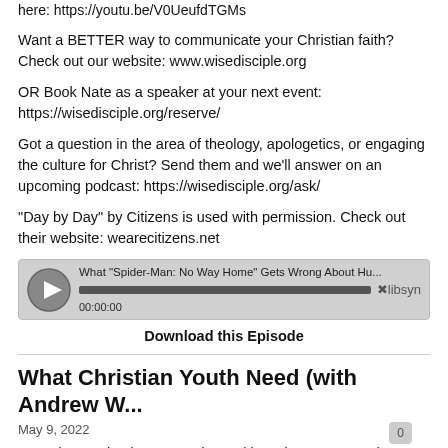Want to watch our latest episode of Details YouTube: Watch it here: https://youtu.be/V0UeufdTGMs
Want a BETTER way to communicate your Christian faith? Check out our website: www.wisedisciple.org
OR Book Nate as a speaker at your next event: https://wisedisciple.org/reserve/
Got a question in the area of theology, apologetics, or engaging the culture for Christ? Send them and we'll answer on an upcoming podcast: https://wisedisciple.org/ask/
"Day by Day" by Citizens is used with permission. Check out their website: wearecitizens.net
[Figure (other): Libsyn audio player showing episode 'What "Spider-Man: No Way Home" Gets Wrong About Hu...' with play button, progress bar at 00:00:00, and Libsyn logo]
Download this Episode
What Christian Youth Need (with Andrew W...
May 9, 2022
On today's episode, Logan chats with Andrew Warnes about how to